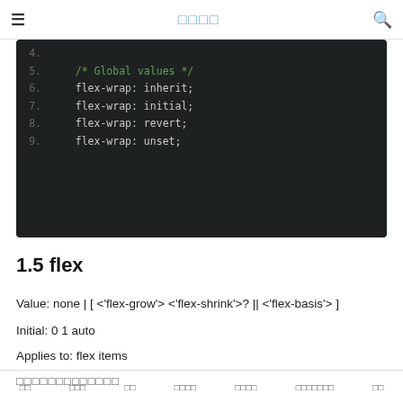≡  □□□□  🔍
[Figure (screenshot): Dark-themed code block showing CSS flex-wrap global values. Lines 4-9: line 4 empty, line 5 comment '/* Global values */', line 6 'flex-wrap: inherit;', line 7 'flex-wrap: initial;', line 8 'flex-wrap: revert;', line 9 'flex-wrap: unset;']
1.5 flex
Value: none | [ <'flex-grow'> <'flex-shrink'>? || <'flex-basis'> ]
Initial: 0 1 auto
Applies to: flex items
□□□□□□□□□□□□□
□□   □□□   □□   □□□□   □□□□   □□□□□□□   □□